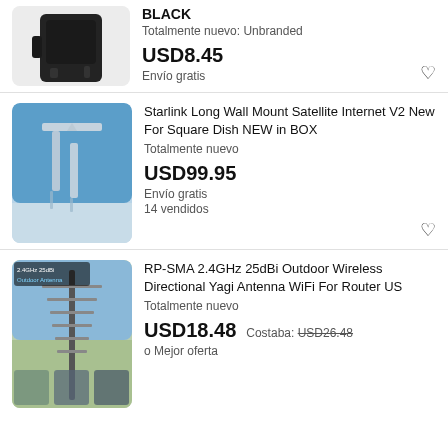[Figure (photo): Black wireless router/device product photo on light gray background]
BLACK
Totalmente nuevo: Unbranded
USD8.45
Envío gratis
[Figure (photo): Starlink wall mount bracket product photo, blue sky background]
Starlink Long Wall Mount Satellite Internet V2 New For Square Dish NEW in BOX
Totalmente nuevo
USD99.95
Envío gratis
14 vendidos
[Figure (photo): RP-SMA Yagi antenna outdoor product photo with 2.4GHz 25dBi label]
RP-SMA 2.4GHz 25dBi Outdoor Wireless Directional Yagi Antenna WiFi For Router US
Totalmente nuevo
USD18.48
Costaba: USD26.48
o Mejor oferta